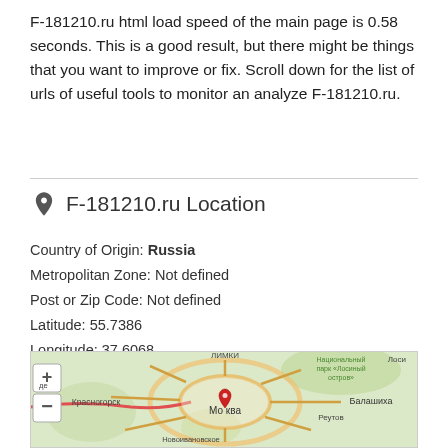F-181210.ru html load speed of the main page is 0.58 seconds. This is a good result, but there might be things that you want to improve or fix. Scroll down for the list of urls of useful tools to monitor an analyze F-181210.ru.
F-181210.ru Location
Country of Origin: Russia
Metropolitan Zone: Not defined
Post or Zip Code: Not defined
Latitude: 55.7386
Longitude: 37.6068
[Figure (map): Map showing Moscow, Russia region with a red location pin marker over central Moscow. Map shows surrounding areas including Красногорск, Балашиха, Реутов, Лосиный остров national park, and other neighborhoods. Map has zoom controls (+/-) on the left side.]